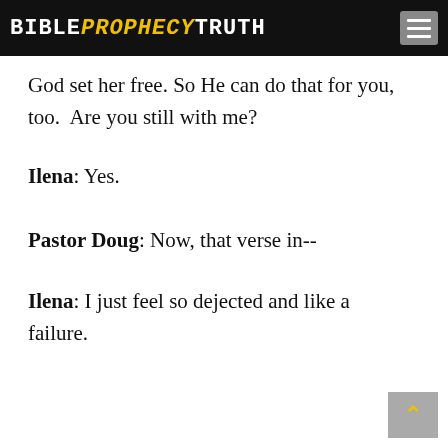BIBLE PROPHECY TRUTH
God set her free. So He can do that for you, too. Are you still with me?
Ilena: Yes.
Pastor Doug: Now, that verse in--
Ilena: I just feel so dejected and like a failure.